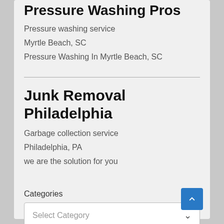Pressure Washing Pros
Pressure washing service
Myrtle Beach, SC
Pressure Washing In Myrtle Beach, SC
Junk Removal Philadelphia
Garbage collection service
Philadelphia, PA
we are the solution for you
Categories
Select Category